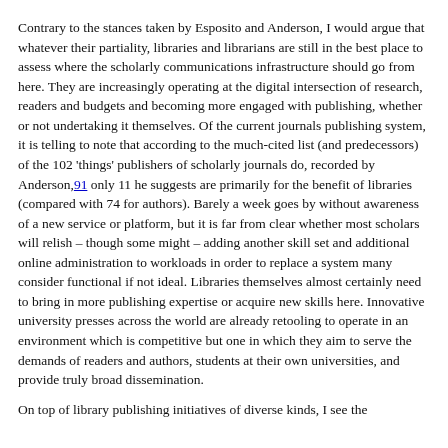Contrary to the stances taken by Esposito and Anderson, I would argue that whatever their partiality, libraries and librarians are still in the best place to assess where the scholarly communications infrastructure should go from here. They are increasingly operating at the digital intersection of research, readers and budgets and becoming more engaged with publishing, whether or not undertaking it themselves. Of the current journals publishing system, it is telling to note that according to the much-cited list (and predecessors) of the 102 'things' publishers of scholarly journals do, recorded by Anderson,91 only 11 he suggests are primarily for the benefit of libraries (compared with 74 for authors). Barely a week goes by without awareness of a new service or platform, but it is far from clear whether most scholars will relish – though some might – adding another skill set and additional online administration to workloads in order to replace a system many consider functional if not ideal. Libraries themselves almost certainly need to bring in more publishing expertise or acquire new skills here. Innovative university presses across the world are already retooling to operate in an environment which is competitive but one in which they aim to serve the demands of readers and authors, students at their own universities, and provide truly broad dissemination.
On top of library publishing initiatives of diverse kinds, I see the